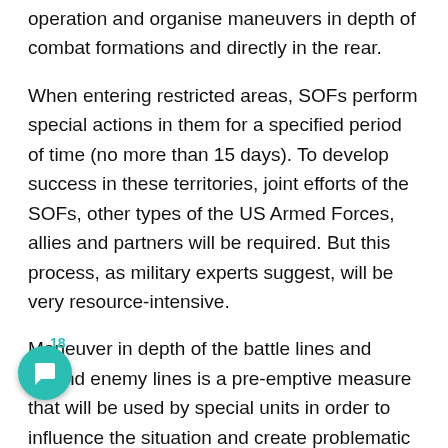operation and organise maneuvers in depth of combat formations and directly in the rear.
When entering restricted areas, SOFs perform special actions in them for a specified period of time (no more than 15 days). To develop success in these territories, joint efforts of the SOFs, other types of the US Armed Forces, allies and partners will be required. But this process, as military experts suggest, will be very resource-intensive.
Maneuver in depth of the battle lines and behind enemy lines is a pre-emptive measure that will be used by special units in order to influence the situation and create problematic moments for the opposing side. It is the ability to influence conditions in areas inaccessible to general forces that will be classified as critical capabilities of the SOF. Egos will require administrative and operational changes to their structure. The concept states that they